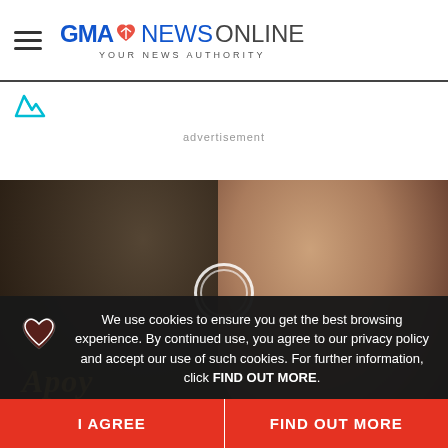GMA NEWS ONLINE - YOUR NEWS AUTHORITY
[Figure (screenshot): GMA News Online website screenshot showing header with hamburger menu and GMA News Online logo, an advertisement placeholder with Withings icon, a video player showing two people embracing with the text 'Apoy' overlaid, and a cookie consent overlay with I AGREE and FIND OUT MORE buttons]
advertisement
Apoy
We use cookies to ensure you get the best browsing experience. By continued use, you agree to our privacy policy and accept our use of such cookies. For further information, click FIND OUT MORE.
I AGREE
FIND OUT MORE
Next Story
Discover this Kapuso star's K-